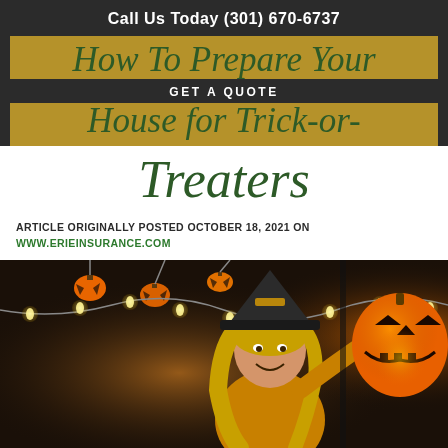Call Us Today (301) 670-6737
How To Prepare Your House for Trick-or-Treaters
GET A QUOTE
ARTICLE ORIGINALLY POSTED OCTOBER 18, 2021 ON
WWW.ERIEINSURANCE.COM
[Figure (photo): Woman in a witch hat and yellow jacket decorating with string lights and Halloween pumpkin lanterns; orange jack-o-lantern balloon visible on the right.]